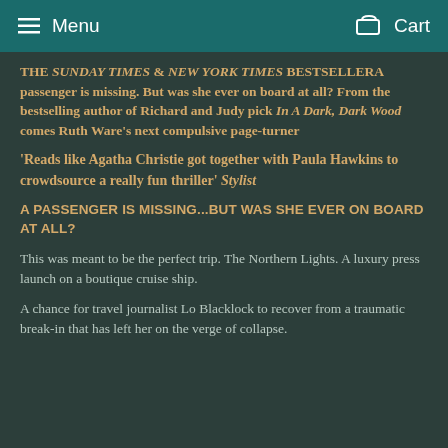Menu | Cart
THE SUNDAY TIMES & NEW YORK TIMES BESTSELLERA passenger is missing. But was she ever on board at all? From the bestselling author of Richard and Judy pick In A Dark, Dark Wood comes Ruth Ware's next compulsive page-turner
'Reads like Agatha Christie got together with Paula Hawkins to crowdsource a really fun thriller' Stylist
A PASSENGER IS MISSING...BUT WAS SHE EVER ON BOARD AT ALL?
This was meant to be the perfect trip. The Northern Lights. A luxury press launch on a boutique cruise ship.
A chance for travel journalist Lo Blacklock to recover from a traumatic break-in that has left her on the verge of collapse.